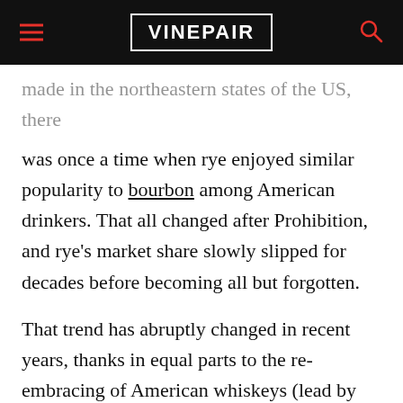VINEPAIR
made in the northeastern states of the US, there was once a time when rye enjoyed similar popularity to bourbon among American drinkers. That all changed after Prohibition, and rye's market share slowly slipped for decades before becoming all but forgotten.
That trend has abruptly changed in recent years, thanks in equal parts to the re-embracing of American whiskeys (lead by bourbon) and the cocktail renaissance. When bartenders